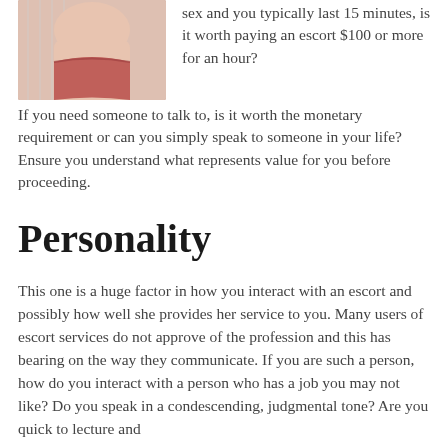[Figure (photo): Photo of a person wearing pink/coral underwear, cropped torso view]
sex and you typically last 15 minutes, is it worth paying an escort $100 or more for an hour? If you need someone to talk to, is it worth the monetary requirement or can you simply speak to someone in your life? Ensure you understand what represents value for you before proceeding.
Personality
This one is a huge factor in how you interact with an escort and possibly how well she provides her service to you. Many users of escort services do not approve of the profession and this has bearing on the way they communicate. If you are such a person, how do you interact with a person who has a job you may not like? Do you speak in a condescending, judgmental tone? Are you quick to lecture and